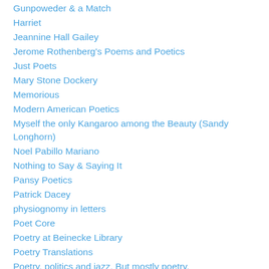Gunpoweder & a Match
Harriet
Jeannine Hall Gailey
Jerome Rothenberg's Poems and Poetics
Just Poets
Mary Stone Dockery
Memorious
Modern American Poetics
Myself the only Kangaroo among the Beauty (Sandy Longhorn)
Noel Pabillo Mariano
Nothing to Say & Saying It
Pansy Poetics
Patrick Dacey
physiognomy in letters
Poet Core
Poetry at Beinecke Library
Poetry Translations
Poetry, politics and jazz. But mostly poetry.
Redactions on Etsy
Redactions: Poetry & Poetics